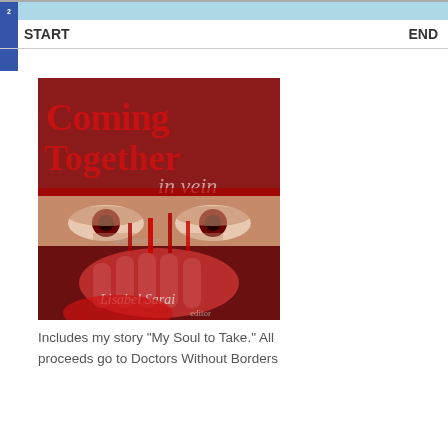2 START END 04
[Figure (illustration): Book cover for 'Coming Together in Vein' edited by Lisabel Sarai, showing a woman's face with bloody hands covering her lower face, red eyes visible, dark red background with blood drips and stylized title text.]
Includes my story "My Soul to Take." All proceeds go to Doctors Without Borders